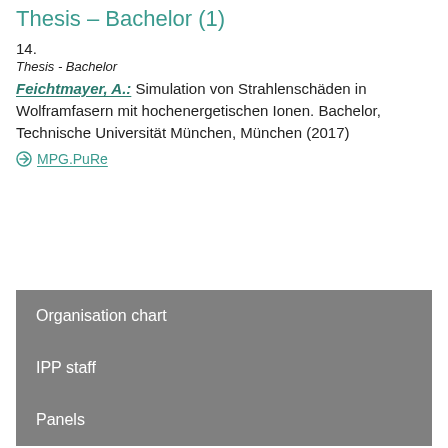Thesis – Bachelor (1)
14.
Thesis - Bachelor
Feichtmayer, A.: Simulation von Strahlenschäden in Wolframfasern mit hochenergetischen Ionen. Bachelor, Technische Universität München, München (2017)
MPG.PuRe
Organisation chart
IPP staff
Panels